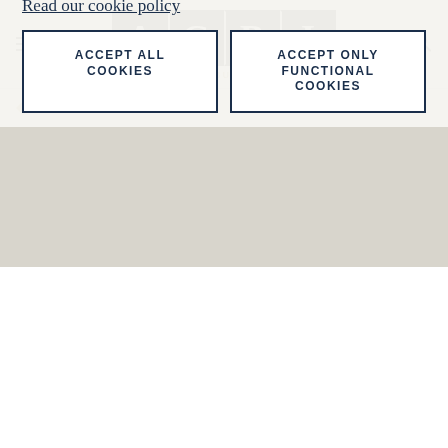AGBI - ARABIAN GULF BUSINESS INSIGHT
TRAVEL & HOSPITALITY
Universal Beijing Resort to reopen on June 25 as Covid cases drop
By
This site uses cookies to provide a better user experience.
Read our cookie policy
ACCEPT ALL COOKIES
ACCEPT ONLY FUNCTIONAL COOKIES